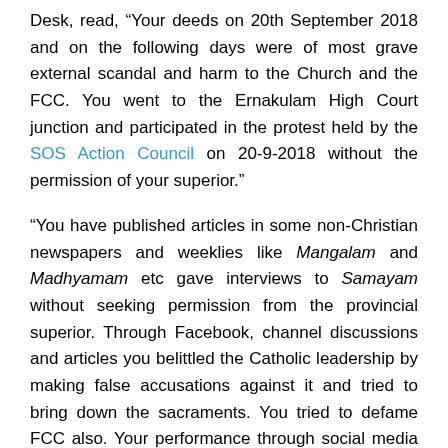Desk, read, “Your deeds on 20th September 2018 and on the following days were of most grave external scandal and harm to the Church and the FCC. You went to the Ernakulam High Court junction and participated in the protest held by the SOS Action Council on 20-9-2018 without the permission of your superior.”
“You have published articles in some non-Christian newspapers and weeklies like Mangalam and Madhyamam etc gave interviews to Samayam without seeking permission from the provincial superior. Through Facebook, channel discussions and articles you belittled the Catholic leadership by making false accusations against it and tried to bring down the sacraments. You tried to defame FCC also. Your performance through social media as a religious sister was culpable arising grave scandal.”